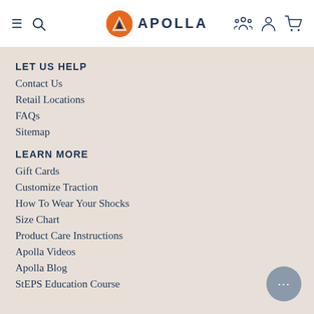APOLLA
LET US HELP
Contact Us
Retail Locations
FAQs
Sitemap
LEARN MORE
Gift Cards
Customize Traction
How To Wear Your Shocks
Size Chart
Product Care Instructions
Apolla Videos
Apolla Blog
StEPS Education Course